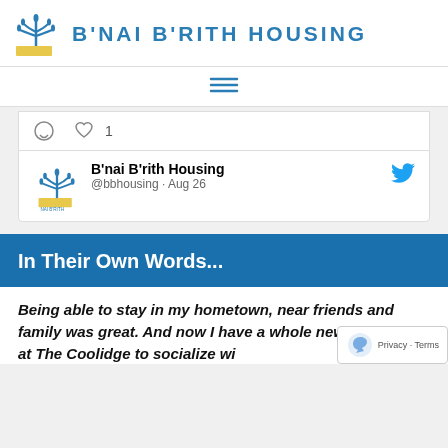[Figure (logo): B'nai B'rith Housing logo with menorah and yellow base, followed by organization name in teal/blue bold letters]
[Figure (other): Hamburger menu icon (three horizontal lines)]
[Figure (screenshot): Twitter/social card showing B'nai B'rith Housing @bbhousing Aug 26, with comment and like (1) icons, and Twitter bird icon]
In Their Own Words...
Being able to stay in my hometown, near friends and family was great. And now I have a whole new community at The Coolidge to socialize wi...